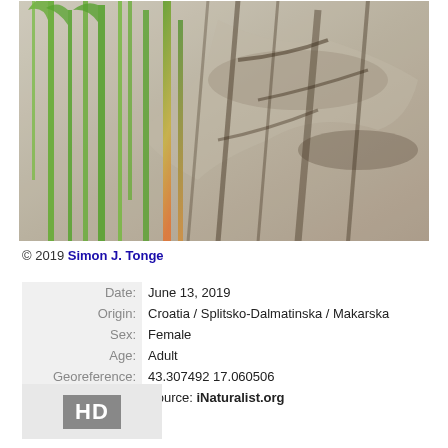[Figure (photo): Nature photograph showing tall green grass-like plant stems growing in front of rocky surface with tree shadows visible. The vegetation appears to be growing among rocks in a Mediterranean coastal setting.]
© 2019 Simon J. Tonge
| Date: | June 13, 2019 |
| Origin: | Croatia / Splitsko-Dalmatinska / Makarska |
| Sex: | Female |
| Age: | Adult |
| Georeference: | 43.307492 17.060506 |
| Note: | Source: iNaturalist.org |
[Figure (other): HD badge/label indicator]